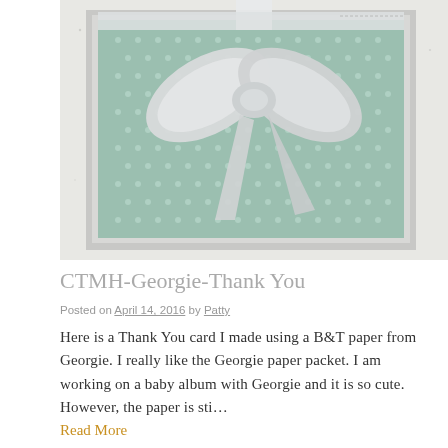[Figure (photo): A handmade greeting card with mint green polka-dot patterned paper layered on a gray card base, decorated with a large silver satin ribbon bow at the top center.]
CTMH-Georgie-Thank You
Posted on April 14, 2016 by Patty
Here is a Thank You card I made using a B&T paper from Georgie.  I really like the Georgie paper packet.  I am working on a baby album with Georgie and it is so cute.  However, the paper is sti...
Read More